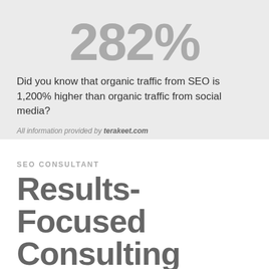282%
Did you know that organic traffic from SEO is 1,200% higher than organic traffic from social media?
All information provided by terakeet.com
SEO CONSULTANT
Results-Focused
Consulting